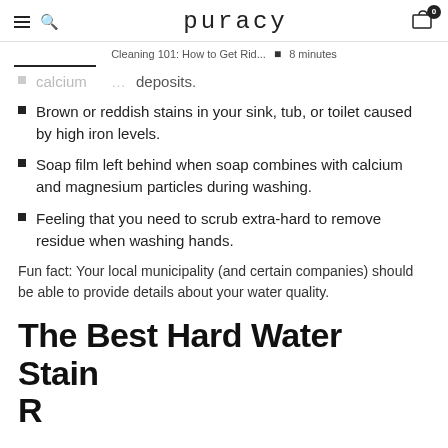puracy
Cleaning 101: How to Get Rid... • 8 minutes
calcium deposits.
Brown or reddish stains in your sink, tub, or toilet caused by high iron levels.
Soap film left behind when soap combines with calcium and magnesium particles during washing.
Feeling that you need to scrub extra-hard to remove residue when washing hands.
Fun fact: Your local municipality (and certain companies) should be able to provide details about your water quality.
The Best Hard Water Stain Removers: 99% Natural...